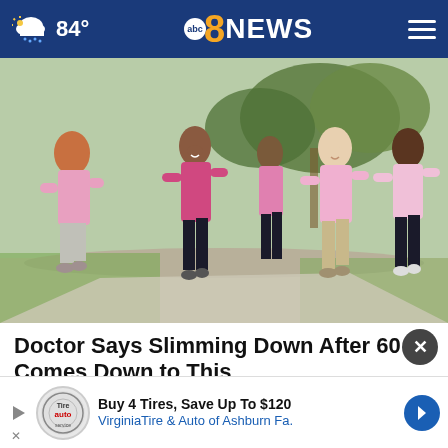84° abc8NEWS
[Figure (photo): Group of women in pink athletic wear jogging together outdoors on a path with trees in the background]
Doctor Says Slimming Down After 60 Comes Down to This
Dr. Kel...
[Figure (screenshot): Advertisement banner: Buy 4 Tires, Save Up To $120 - VirginiaTire & Auto of Ashburn Fa.]